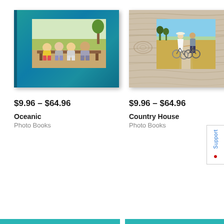[Figure (photo): Photo book product image: Oceanic theme - teal/blue book cover with photo of four children sitting on a bench eating ice cream]
$9.96 – $64.96
Oceanic
Photo Books
[Figure (photo): Photo book product image: Country House theme - weathered wood grain cover with photo of a couple riding bicycles on a country road]
$9.96 – $64.96
Country House
Photo Books